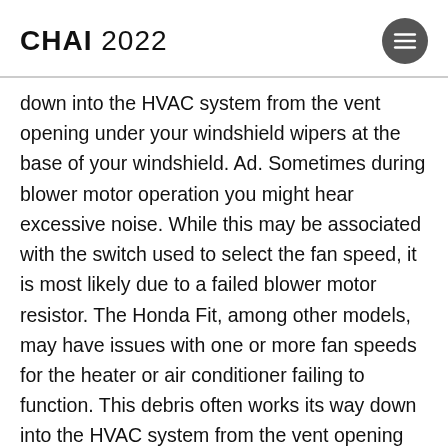CHAI 2022
down into the HVAC system from the vent opening under your windshield wipers at the base of your windshield. Ad. Sometimes during blower motor operation you might hear excessive noise. While this may be associated with the switch used to select the fan speed, it is most likely due to a failed blower motor resistor. The Honda Fit, among other models, may have issues with one or more fan speeds for the heater or air conditioner failing to function. This debris often works its way down into the HVAC system from the vent opening under your windshield wipers at the base of your windshield. Amazon.com: blower motor resistor honda fit. SELECT VEHICLE. Instead they use a blower motor speed control or a power transistor. By going through the steps outlined above, could some of you please check to see if there is any noise on your trucks? Honda Civic heater / blower noise. Arrives before Christmas Only 2 left in stock - order soon. Browse